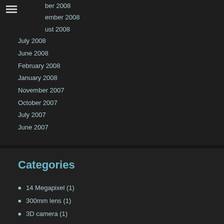ber 2008
ember 2008
ust 2008
July 2008
June 2008
February 2008
January 2008
November 2007
October 2007
July 2007
June 2007
Categories
14 Megapixel (1)
300mm lens (1)
3D camera (1)
3D Object painting (1)
9/11 (1)
ABC (3)